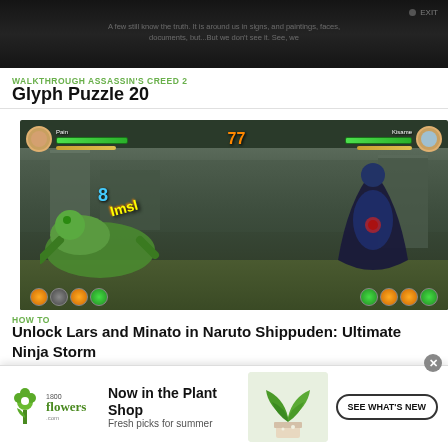[Figure (screenshot): Assassin's Creed 2 game screenshot showing a dark scene with text overlay and EXIT button]
WALKTHROUGH ASSASSIN'S CREED 2
Glyph Puzzle 20
[Figure (screenshot): Naruto Shippuden: Ultimate Ninja Storm 2 gameplay screenshot showing a battle between Pain and Kisame with health bars and control icons]
HOW TO
Unlock Lars and Minato in Naruto Shippuden: Ultimate Ninja Storm 2
[Figure (infographic): 1-800-Flowers.com advertisement banner: Now in the Plant Shop, Fresh picks for summer, SEE WHAT'S NEW button]